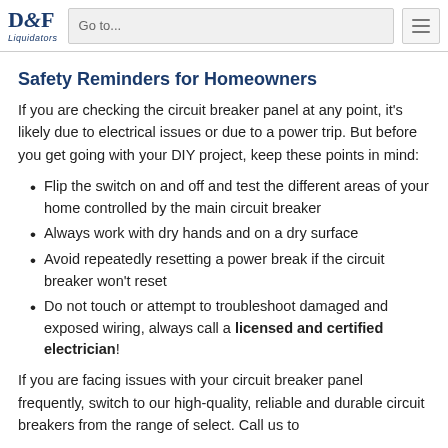D&F Liquidators | Go to...
Safety Reminders for Homeowners
If you are checking the circuit breaker panel at any point, it's likely due to electrical issues or due to a power trip. But before you get going with your DIY project, keep these points in mind:
Flip the switch on and off and test the different areas of your home controlled by the main circuit breaker
Always work with dry hands and on a dry surface
Avoid repeatedly resetting a power break if the circuit breaker won't reset
Do not touch or attempt to troubleshoot damaged and exposed wiring, always call a licensed and certified electrician!
If you are facing issues with your circuit breaker panel frequently, switch to our high-quality, reliable and durable circuit breakers from the range of select. Call us to...